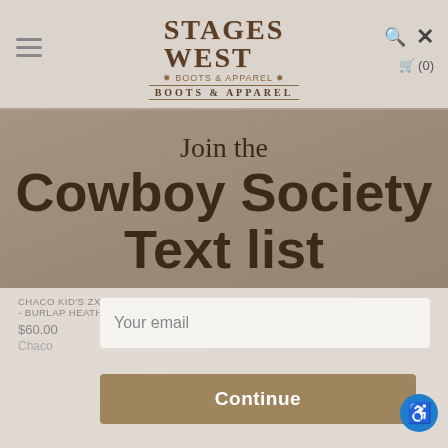[Figure (screenshot): Stages West Boots & Apparel website header with logo, hamburger menu, search icon, close icon, and cart (0).]
Join the Cowboy Society Text list
Your email
Continue
CHACO KID'S ZX1 ECOTREAD SANDAL - BURLAP HEATHER/HEATHER GREY
$60.00
Chaco